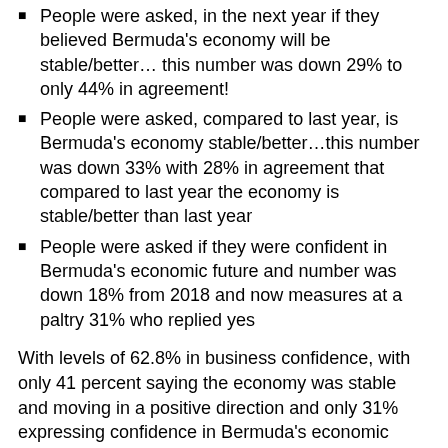People were asked, in the next year if they believed Bermuda's economy will be stable/better… this number was down 29% to only 44% in agreement!
People were asked, compared to last year, is Bermuda's economy stable/better…this number was down 33% with 28% in agreement that compared to last year the economy is stable/better than last year
People were asked if they were confident in Bermuda's economic future and number was down 18% from 2018 and now measures at a paltry 31% who replied yes
With levels of 62.8% in business confidence, with only 41 percent saying the economy was stable and moving in a positive direction and only 31% expressing confidence in Bermuda's economic future…my fellow Bermudians we have a problem.